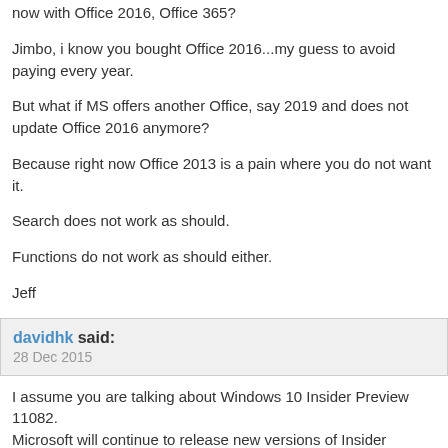now with Office 2016, Office 365?
Jimbo, i know you bought Office 2016...my guess to avoid paying every year.
But what if MS offers another Office, say 2019 and does not update Office 2016 anymore?
Because right now Office 2013 is a pain where you do not want it.
Search does not work as should.
Functions do not work as should either.
Jeff
davidhk said:
28 Dec 2015
I assume you are talking about Windows 10 Insider Preview 11082.
Microsoft will continue to release new versions of Insider